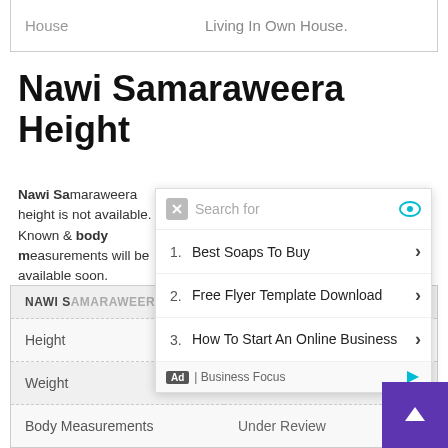| House | Living In Own House. |
| --- | --- |
Nawi Samaraweera Height
Nawi Samaraweera height is not available. Known & body measurements will be available soon.
| NAWI S... & BODY |
| --- |
| Height | n |
| Weight | Not Known |
| Body Measurements | Under Review |
| Eye Color | Not Available |
[Figure (screenshot): Autocomplete/search suggestion overlay showing: 1. Best Soaps To Buy, 2. Free Flyer Template Download, 3. How To Start An Online Business. Ad | Business Focus label at bottom.]